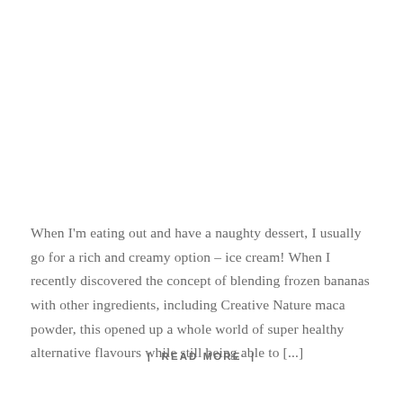When I'm eating out and have a naughty dessert, I usually go for a rich and creamy option – ice cream! When I recently discovered the concept of blending frozen bananas with other ingredients, including Creative Nature maca powder, this opened up a whole world of super healthy alternative flavours while still being able to [...]
| READ MORE |